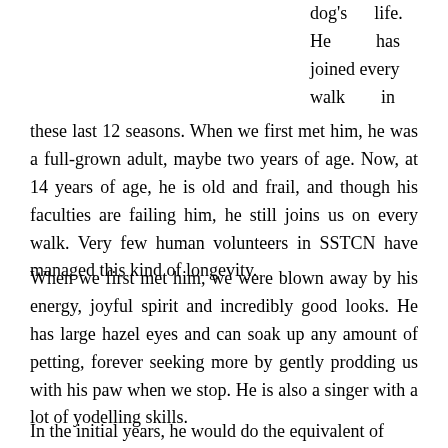dog's life. He has joined every walk in these last 12 seasons. When we first met him, he was a full-grown adult, maybe two years of age. Now, at 14 years of age, he is old and frail, and though his faculties are failing him, he still joins us on every walk. Very few human volunteers in SSTCN have managed this kind of longevity.
When we first met him, we were blown away by his energy, joyful spirit and incredibly good looks. He has large hazel eyes and can soak up any amount of petting, forever seeking more by gently prodding us with his paw when we stop. He is also a singer with a lot of yodelling skills.
In the initial years, he would do the equivalent of